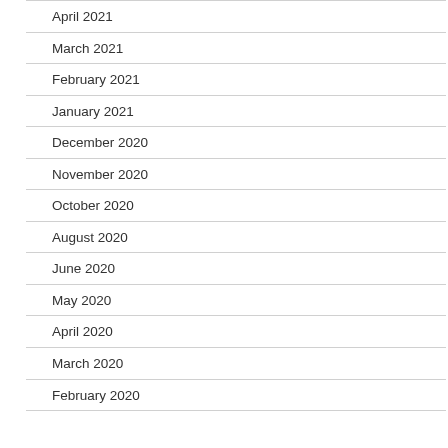April 2021
March 2021
February 2021
January 2021
December 2020
November 2020
October 2020
August 2020
June 2020
May 2020
April 2020
March 2020
February 2020